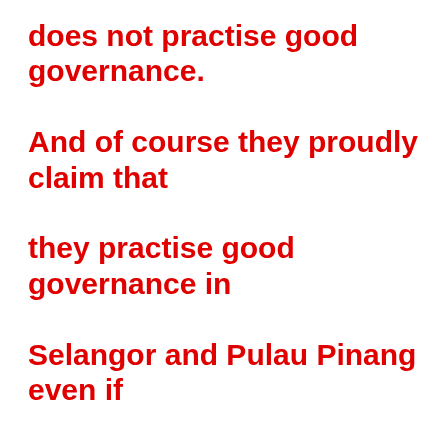does not practise good governance. And of course they proudly claim that they practise good governance in Selangor and Pulau Pinang even if only their supporters believe their words. Good governance is too important for